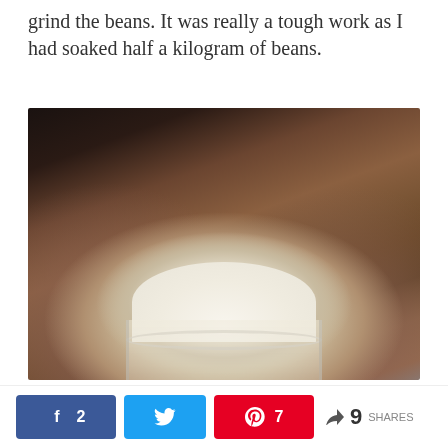grind the beans. It was really a tough work as I had soaked half a kilogram of beans.
[Figure (photo): A glass of white soy milk viewed from above, sitting on a wooden surface. The glass has a foamy white rim and creamy white liquid inside.]
2  [Twitter share button]  7  < 9 SHARES